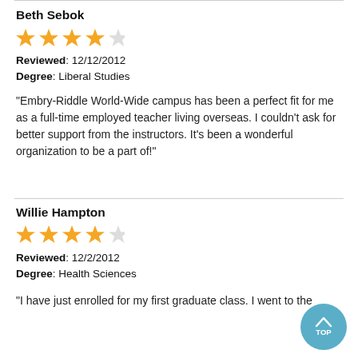Beth Sebok
[Figure (other): 4.5 star rating shown as golden stars]
Reviewed: 12/12/2012
Degree: Liberal Studies
"Embry-Riddle World-Wide campus has been a perfect fit for me as a full-time employed teacher living overseas. I couldn't ask for better support from the instructors. It's been a wonderful organization to be a part of!"
Willie Hampton
[Figure (other): 4.5 star rating shown as golden stars]
Reviewed: 12/2/2012
Degree: Health Sciences
"I have just enrolled for my first graduate class. I went to the